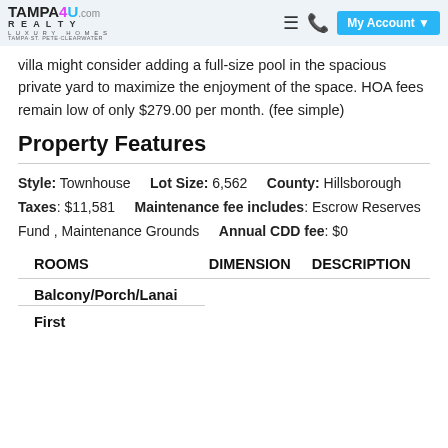TAMPA4U.COM REALTY LUXURY HOMES TAMPA-ST. PETE-CLEARWATER | My Account
villa might consider adding a full-size pool in the spacious private yard to maximize the enjoyment of the space. HOA fees remain low of only $279.00 per month. (fee simple)
Property Features
Style: Townhouse   Lot Size: 6,562   County: Hillsborough   Taxes: $11,581   Maintenance fee includes: Escrow Reserves Fund , Maintenance Grounds   Annual CDD fee: $0
| ROOMS | DIMENSION | DESCRIPTION |
| --- | --- | --- |
| Balcony/Porch/Lanai |  |  |
| First |  |  |